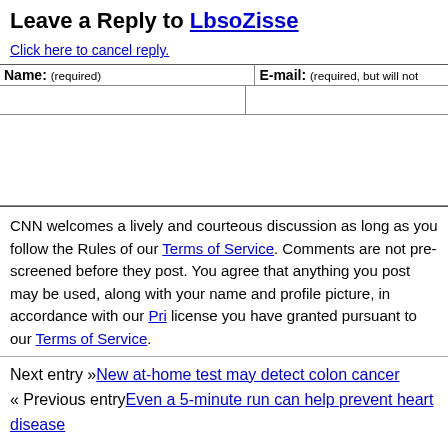Leave a Reply to LbsoZisse
Click here to cancel reply.
| Name: (required) | E-mail: (required, but will not be published) |
| --- | --- |
|  |  |
CNN welcomes a lively and courteous discussion as long as you follow the Rules of our Terms of Service. Comments are not pre-screened before they post. You agree that anything you post may be used, along with your name and profile picture, in accordance with our Privacy Policy and the license you have granted pursuant to our Terms of Service.
Next entry »New at-home test may detect colon cancer
« Previous entryEven a 5-minute run can help prevent heart disease